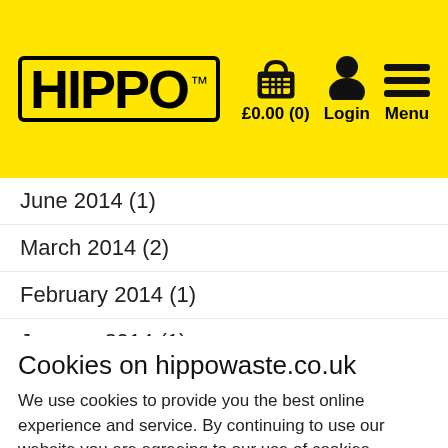[Figure (logo): HIPPO logo in black bold text with black border on yellow background, with TM superscript]
[Figure (infographic): Shopping basket icon with £0.00 (0) label, person/login icon, and hamburger menu icon, all on yellow background]
June 2014 (1)
March 2014 (2)
February 2014 (1)
January 2014 (1)
November 2013 (1)
October 2013 (1)
Cookies on hippowaste.co.uk
We use cookies to provide you the best online experience and service. By continuing to use our website you are agreeing to our use of cookies.
Continue
Find out more >